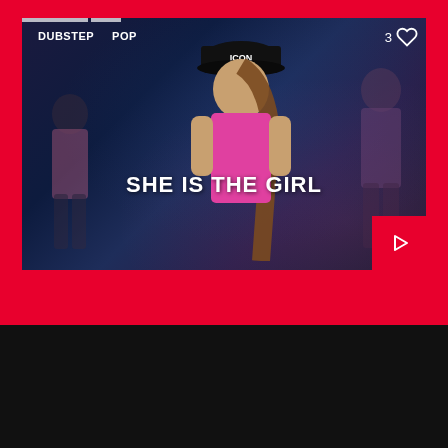[Figure (screenshot): Music streaming app card showing a music video thumbnail with a woman wearing a black cap with 'ICON' text, in a pink top. The card has genre tags 'DUBSTEP' and 'POP' at top left, a like count '3' with heart icon at top right, the song title 'SHE IS THE GIRL' overlaid in bold white text, and a red play button at bottom right.]
DUBSTEP   POP
3
SHE IS THE GIRL
Copyright 2022 Welle-Rendsburg